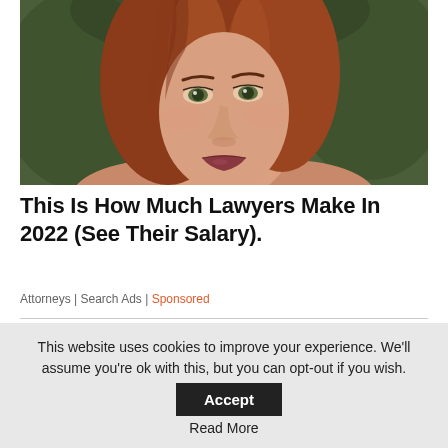[Figure (photo): Close-up portrait of a young woman with long auburn/red hair, green eyes, looking at the camera with a neutral expression. Background is blurred green foliage.]
This Is How Much Lawyers Make In 2022 (See Their Salary).
Attorneys | Search Ads | Sponsored
[Figure (illustration): Cartoon/illustrated image showing hands holding what appears to be a small dark circular object with a yellow element, with pink-nailed fingers visible.]
This website uses cookies to improve your experience. We'll assume you're ok with this, but you can opt-out if you wish. Accept Read More